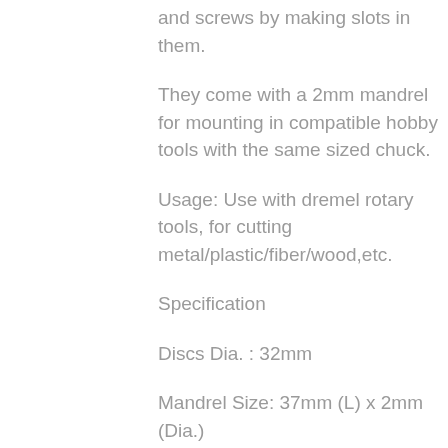and screws by making slots in them.
They come with a 2mm mandrel for mounting in compatible hobby tools with the same sized chuck.
Usage: Use with dremel rotary tools, for cutting metal/plastic/fiber/wood,etc.
Specification
Discs Dia. : 32mm
Mandrel Size: 37mm (L) x 2mm (Dia.)
No retail packag